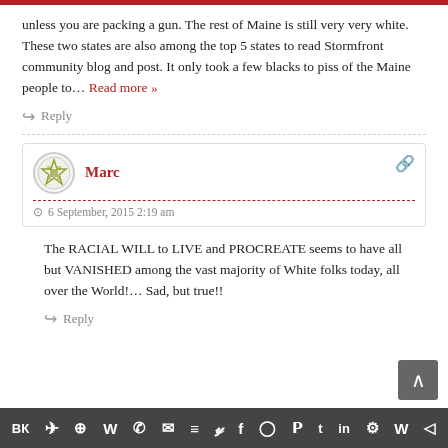unless you are packing a gun. The rest of Maine is still very very white. These two states are also among the top 5 states to read Stormfront community blog and post. It only took a few blacks to piss of the Maine people to… Read more »
↪ Reply
Marc — 6 September, 2015 2:19 am
The RACIAL WILL to LIVE and PROCREATE seems to have all but VANISHED among the vast majority of White folks today, all over the World!… Sad, but true!!
↪ Reply
Social sharing bar